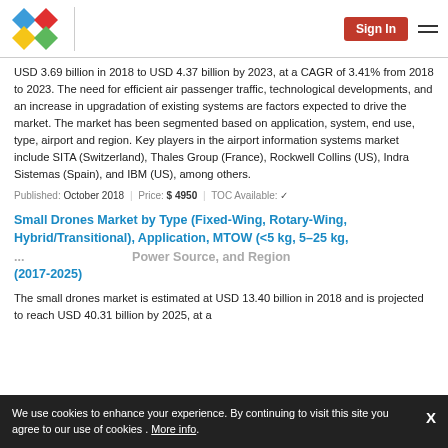Sign In | [logo] [hamburger menu]
USD 3.69 billion in 2018 to USD 4.37 billion by 2023, at a CAGR of 3.41% from 2018 to 2023. The need for efficient air passenger traffic, technological developments, and an increase in upgradation of existing systems are factors expected to drive the market. The market has been segmented based on application, system, end use, type, airport and region. Key players in the airport information systems market include SITA (Switzerland), Thales Group (France), Rockwell Collins (US), Indra Sistemas (Spain), and IBM (US), among others.
Published: October 2018 | Price: $ 4950 | TOC Available: ✓
Small Drones Market by Type (Fixed-Wing, Rotary-Wing, Hybrid/Transitional), Application, MTOW (<5 kg, 5–25 kg, ... Power Source, and Region (2017-2025)
The small drones market is estimated at USD 13.40 billion in 2018 and is projected to reach USD 40.31 billion by 2025, at a CAGR of 15.1% from 2018 to 2025. The is in the ...
We use cookies to enhance your experience. By continuing to visit this site you agree to our use of cookies . More info.